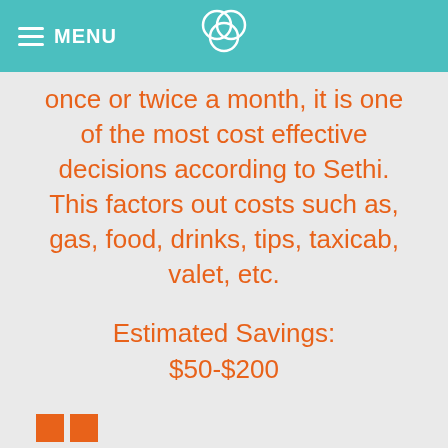MENU
once or twice a month, it is one of the most cost effective decisions according to Sethi. This factors out costs such as, gas, food, drinks, tips, taxicab, valet, etc.
Estimated Savings: $50-$200